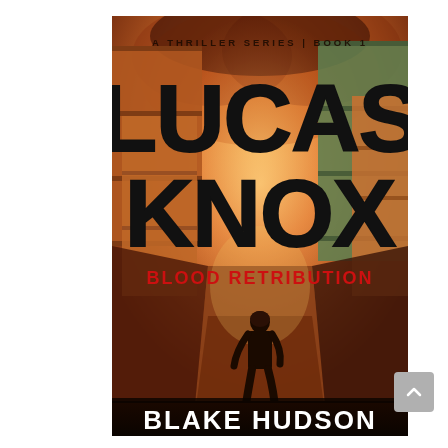[Figure (illustration): Book cover for 'Lucas Knox: Blood Retribution' by Blake Hudson. A Thriller Series Book 1. Background shows shipping containers with dramatic orange/amber sky and smoke. A lone silhouetted figure stands in the center. Large bold black text reads 'LUCAS KNOX' at top, red bold text 'BLOOD RETRIBUTION' in middle, white bold text 'BLAKE HUDSON' at bottom. Small text at top: 'A THRILLER SERIES | BOOK 1'.]